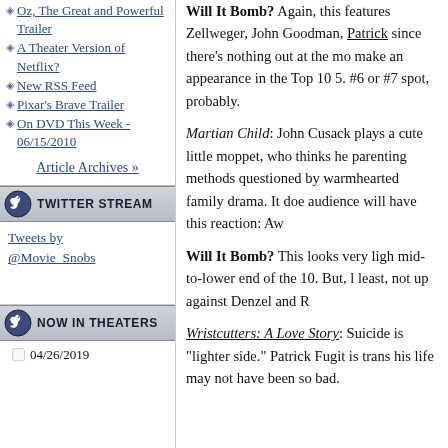Oz, The Great and Powerful Trailer
A Theater Version of Netflix?
New RSS Feed
Pixar's Brave Trailer
On DVD This Week - 06/15/2010
Article Archives »
Twitter Stream
Tweets by @Movie_Snobs
Now In Theaters
04/26/2019
Will It Bomb? Again, this features Zellweger, John Goodman, Patrick since there's nothing out at the mo make an appearance in the Top 10 5. #6 or #7 spot, probably.
Martian Child: John Cusack plays a cute little moppet, who thinks he parenting methods questioned by warmhearted family drama. It doe audience will have this reaction: Aw
Will It Bomb? This looks very ligh mid-to-lower end of the 10. But, least, not up against Denzel and R
Wristcutters: A Love Story: Suicide is "lighter side." Patrick Fugit is trans his life may not have been so bad.